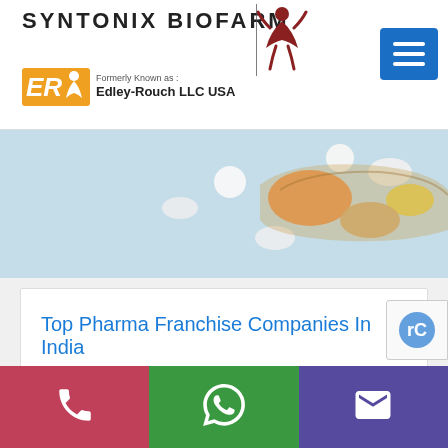SYNTONIX BIOFARM — Formerly Known as: Edley-Rouch LLC USA
[Figure (photo): Pills and capsules spilling from a bowl on a light blue background — pharmaceutical product banner image]
Top Pharma Franchise Companies In India
[Figure (infographic): Bottom contact bar with phone, WhatsApp, and email icons on pink, green, and purple backgrounds]